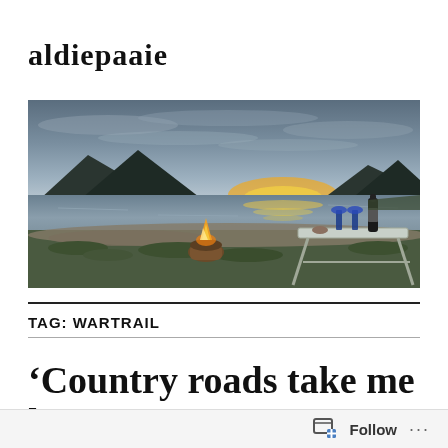aldiepaaie
[Figure (photo): Scenic lakeside campsite at dusk with mountains in background, a small campfire on a log, and a portable table with wine bottle and blue glasses in the foreground.]
TAG: WARTRAIL
‘Country roads take me home’